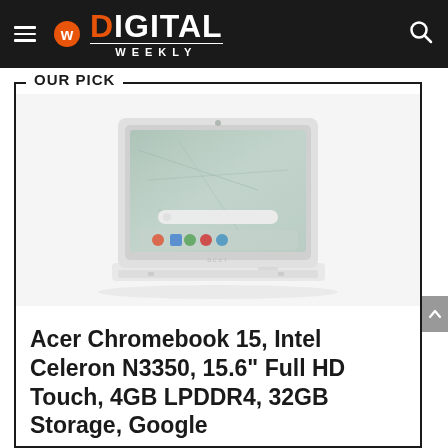Digital Weekly
OUR PICK
[Figure (photo): Acer Chromebook 15 laptop open, showing Chrome OS interface, white color, viewed from front-above angle]
Acer Chromebook 15, Intel Celeron N3350, 15.6" Full HD Touch, 4GB LPDDR4, 32GB Storage, Google